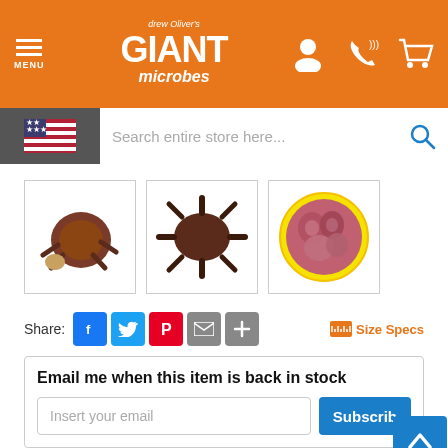Giant Microbes - MENU, Search entire store here...
[Figure (screenshot): Three product thumbnail images of Kidney Cell (Podocyte) plush toy: first shows plush with reference object, second shows plush from above, third shows circular microscope image with yellow border]
Share:
[Figure (infographic): Social share buttons: Facebook (blue), Twitter (light blue), Pinterest (red), Email (grey), Plus (grey). Size Specs link with ruler icon in orange.]
Email me when this item is back in stock
Insert your email
Subscrib
[Figure (infographic): Back to top button: blue square with upward chevron, text BACK TO TOP in blue]
Kidney Cell (Podocyte)